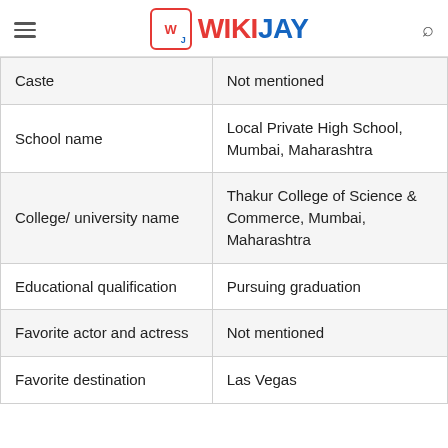WIKIJAY
| Caste | Not mentioned |
| School name | Local Private High School, Mumbai, Maharashtra |
| College/ university name | Thakur College of Science & Commerce, Mumbai, Maharashtra |
| Educational qualification | Pursuing graduation |
| Favorite actor and actress | Not mentioned |
| Favorite destination | Las Vegas |